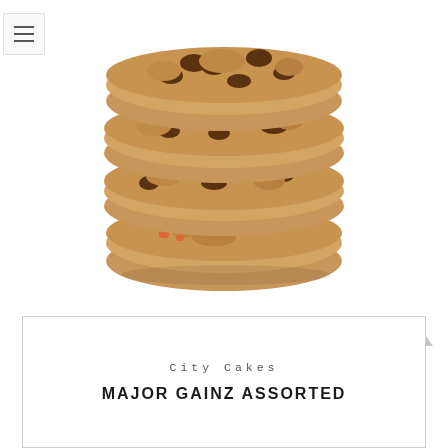[Figure (photo): A stack of four large assorted chocolate chip and candy cookies photographed on a white background]
City Cakes
MAJOR GAINZ ASSORTED